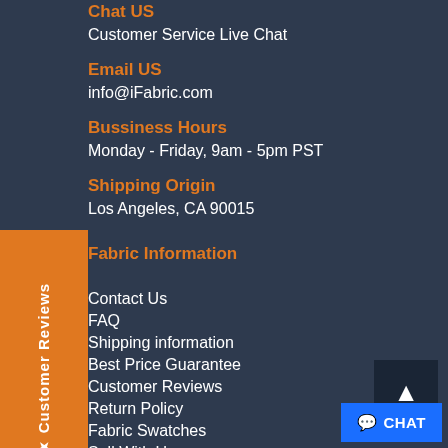Chat US
Customer Service Live Chat
Email US
info@iFabric.com
Bussiness Hours
Monday - Friday, 9am - 5pm PST
Shipping Origin
Los Angeles, CA 90015
Fabric Information
Contact Us
FAQ
Shipping information
Best Price Guarantee
Customer Reviews
Return Policy
Fabric Swatches
Sell With Us
Gift Cards
Track Your Order